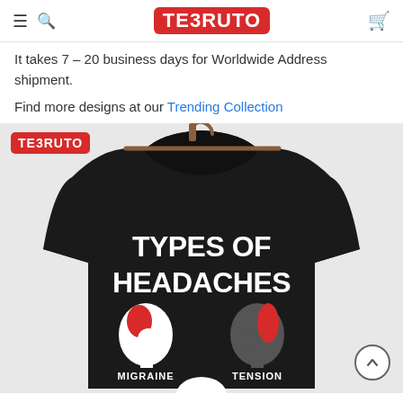TEERUTO — navigation header with hamburger menu, search, logo, and cart icon
It takes 7 – 20 business days for Worldwide Address shipment.
Find more designs at our Trending Collection
[Figure (photo): Black t-shirt on a wooden hanger displaying 'TYPES OF HEADACHES' text with illustrated heads labeled MIGRAINE and TENSION. Teeruto logo badge in top-left corner. Back-to-top arrow button in bottom-right.]